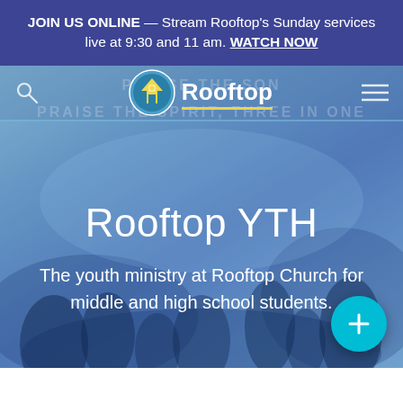JOIN US ONLINE — Stream Rooftop's Sunday services live at 9:30 and 11 am. WATCH NOW
[Figure (screenshot): Rooftop Church website hero section showing the Rooftop YTH (Youth) page. Navigation bar with search icon, Rooftop logo (circular icon with house/arrow), and hamburger menu. Background shows a youth worship event with crowd silhouettes in blue tones. Centered text reads 'Rooftop YTH' with subtitle 'The youth ministry at Rooftop Church for middle and high school students.' A teal floating action button with a plus sign is in the bottom right.]